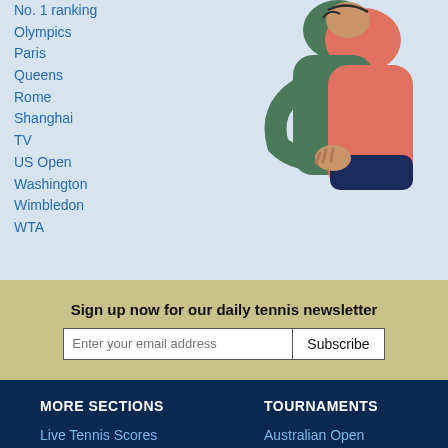No. 1 ranking
Olympics
Paris
Queens
Rome
Shanghai
TV
US Open
Washington
Wimbledon
WTA
[Figure (illustration): Illustration of two people hugging, shown from shoulders/torso area, one wearing green and one in orange/red tones]
Sign up now for our daily tennis newsletter
Enter your email address
Subscribe
MORE SECTIONS
Live Tennis Scores
Headlines
Tennis T-Shirts
TOURNAMENTS
Australian Open
French Open
Wimbledon
US Open
Davis Cup